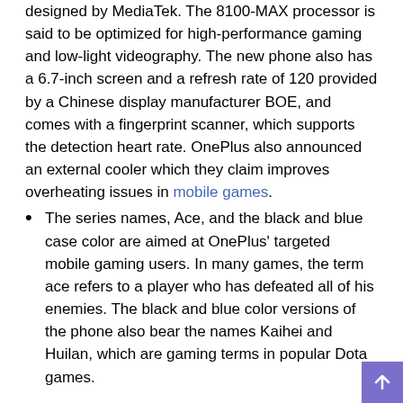designed by MediaTek. The 8100-MAX processor is said to be optimized for high-performance gaming and low-light videography. The new phone also has a 6.7-inch screen and a refresh rate of 120 provided by a Chinese display manufacturer BOE, and comes with a fingerprint scanner, which supports the detection heart rate. OnePlus also announced an external cooler which they claim improves overheating issues in mobile games.
The series names, Ace, and the black and blue case color are aimed at OnePlus' targeted mobile gaming users. In many games, the term ace refers to a player who has defeated all of his enemies. The black and blue color versions of the phone also bear the names Kaihei and Huilan, which are gaming terms in popular Dota games.
The context: OnePlus merged with Oppo, another major smartphone brand in China, last year and is now an independent brand under the Oppo umbrella, focusing on overseas markets.
In the high-end smartphone market, where phones sell for